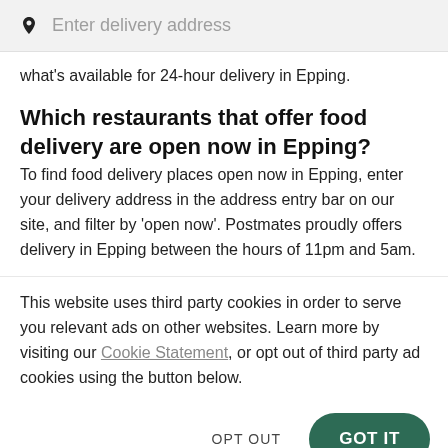[Figure (screenshot): Search bar with location pin icon and placeholder text 'Enter delivery address' on a light grey background]
what's available for 24-hour delivery in Epping.
Which restaurants that offer food delivery are open now in Epping?
To find food delivery places open now in Epping, enter your delivery address in the address entry bar on our site, and filter by 'open now'. Postmates proudly offers delivery in Epping between the hours of 11pm and 5am.
This website uses third party cookies in order to serve you relevant ads on other websites. Learn more by visiting our Cookie Statement, or opt out of third party ad cookies using the button below.
OPT OUT
GOT IT